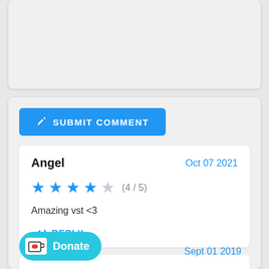[Figure (screenshot): Top gray card area (partial, cropped)]
SUBMIT COMMENT
Angel
Oct 07 2021
[Figure (infographic): 4 out of 5 blue stars rating]
(4 / 5)
Amazing vst <3
REPLY
[Figure (logo): Ko-fi Donate button with cup icon]
Donate
Sept 01 2019